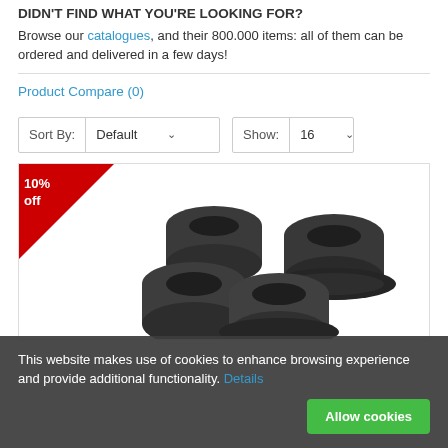DIDN'T FIND WHAT YOU'RE LOOKING FOR?
Browse our catalogues, and their 800.000 items: all of them can be ordered and delivered in a few days!
Product Compare (0)
Sort By: Default    Show: 16
[Figure (photo): Four dark rubber bushings/grommets product image with a 10% off red corner badge]
This website makes use of cookies to enhance browsing experience and provide additional functionality. Details  Allow cookies